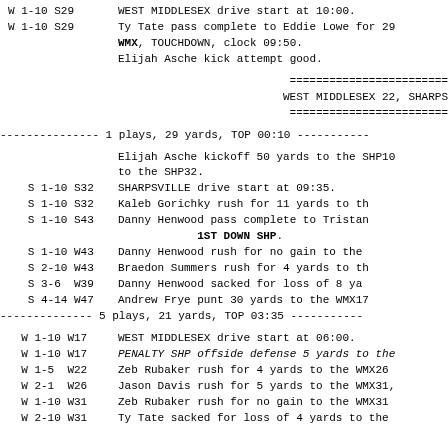W 1-10 S29   WEST MIDDLESEX drive start at 10:00.
W 1-10 S29   Ty Tate pass complete to Eddie Lowe for 29 WMX, TOUCHDOWN, clock 09:50. Elijah Asche kick attempt good.
WEST MIDDLESEX 22, SHARPS...
1 plays, 29 yards, TOP 00:10
Elijah Asche kickoff 50 yards to the SHP10 to the SHP32.
S 1-10 S32   SHARPSVILLE drive start at 09:35.
S 1-10 S32   Kaleb Gorichky rush for 11 yards to th
S 1-10 S43   Danny Henwood pass complete to Tristan 1ST DOWN SHP.
S 1-10 W43   Danny Henwood rush for no gain to the
S 2-10 W43   Braedon Summers rush for 4 yards to th
S 3-6  W39   Danny Henwood sacked for loss of 8 ya
S 4-14 W47   Andrew Frye punt 30 yards to the WMX17
5 plays, 21 yards, TOP 03:35
W 1-10 W17   WEST MIDDLESEX drive start at 06:00.
W 1-10 W17   PENALTY SHP offside defense 5 yards to the
W 1-5  W22   Zeb Rubaker rush for 4 yards to the WMX26
W 2-1  W26   Jason Davis rush for 5 yards to the WMX31,
W 1-10 W31   Zeb Rubaker rush for no gain to the WMX31
W 2-10 W31   Ty Tate sacked for loss of 4 yards to the